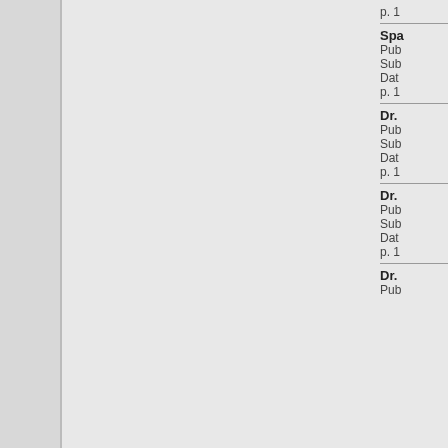p. 1
Spa
Pub
Sub
Dat
p. 1
Dr.
Pub
Sub
Dat
p. 1
Dr.
Pub
Sub
Dat
p. 1
Dr.
Pub